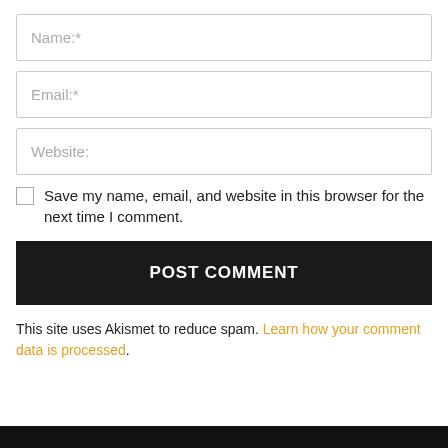Name:*
Email:*
Website:
Save my name, email, and website in this browser for the next time I comment.
POST COMMENT
This site uses Akismet to reduce spam. Learn how your comment data is processed.